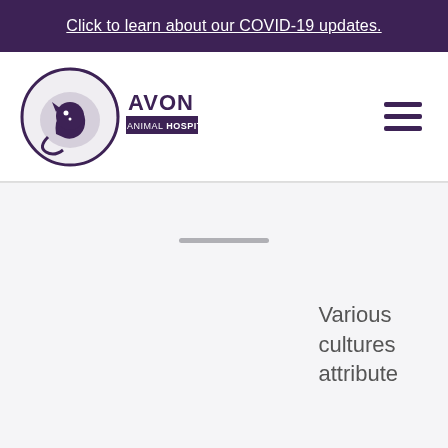Click to learn about our COVID-19 updates.
[Figure (logo): Avon Animal Hospital logo — circular dark purple emblem with dog and cat silhouette, beside the text AVON ANIMAL HOSPITAL]
Various cultures attribute